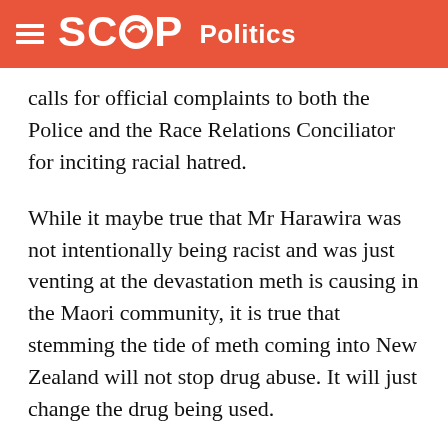SCOOP Politics
calls for official complaints to both the Police and the Race Relations Conciliator for inciting racial hatred.
While it maybe true that Mr Harawira was not intentionally being racist and was just venting at the devastation meth is causing in the Maori community, it is true that stemming the tide of meth coming into New Zealand will not stop drug abuse. It will just change the drug being used.
The real question has to be, why are people using drugs, and how can communities help the disenfranchised re-connect?